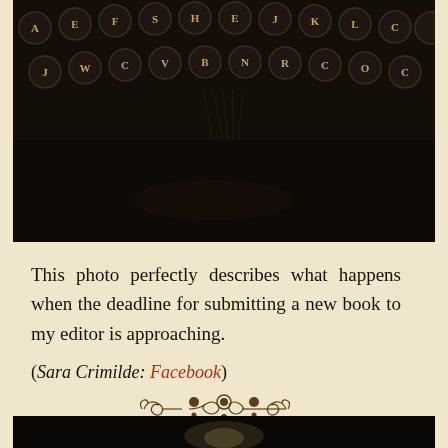[Figure (photo): Close-up photo of vintage typewriter keys, dark background, keys showing letters in circular metal rings]
This photo perfectly describes what happens when the deadline for submitting a new book to my editor is approaching.
(Sara Crimilde: Facebook)
[Figure (illustration): Decorative ornamental divider with scrollwork and flourishes]
[Figure (photo): Bottom portion of another photo, dark background visible at bottom of page]